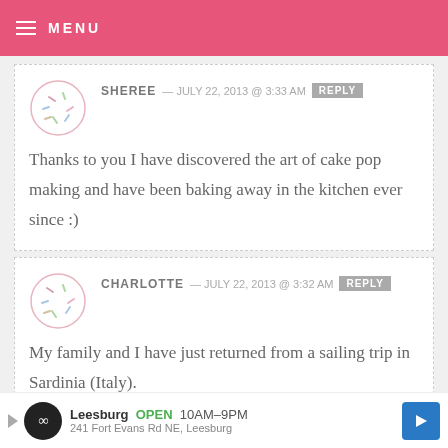MENU
SHEREE — JULY 22, 2013 @ 3:33 AM  REPLY
Thanks to you I have discovered the art of cake pop making and have been baking away in the kitchen ever since :)
CHARLOTTE — JULY 22, 2013 @ 3:32 AM  REPLY
My family and I have just returned from a sailing trip in Sardinia (Italy).
Leesburg  OPEN  10AM–9PM  241 Fort Evans Rd NE, Leesburg